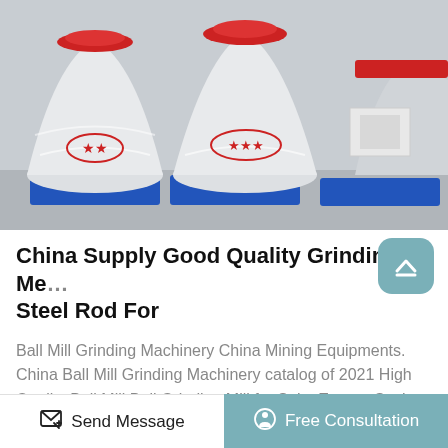[Figure (photo): Industrial grinding mill machinery wrapped in white protective plastic/paper, sitting on blue metal frames/pallets in a warehouse or factory. Multiple cone-shaped ball mill units with red and white markings are visible.]
China Supply Good Quality Grinding Me... Steel Rod For
Ball Mill Grinding Machinery China Mining Equipments. China Ball Mill Grinding Machinery catalog of 2021 High Quality Ball Mill Ball Grinding Mill for Sale, Energy-Saving Mineral Ore Cone Ball Mill (YMQ series) provided by China
Send Message   Free Consultation